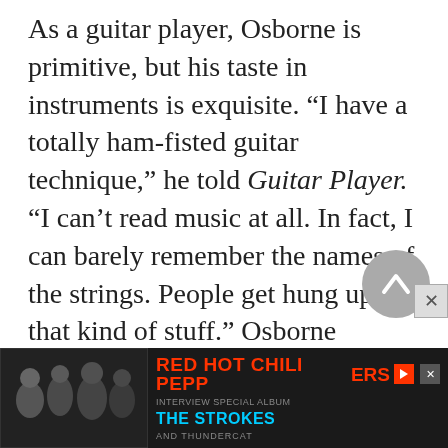As a guitar player, Osborne is primitive, but his taste in instruments is exquisite. “I have a totally ham-fisted guitar technique,” he told Guitar Player. “I can’t read music at all. In fact, I can barely remember the names of the strings. People get hung up on that kind of stuff.” Osborne doesn’t even bother with the all six strings. “I never use the high string,” he said, “so I never have to worry about breaking it.... I just realized I didn’t need … h
[Figure (other): Advertisement banner for Red Hot Chili Peppers, The Strokes and Thundercat concert/event, with a black and white photo on the left side]